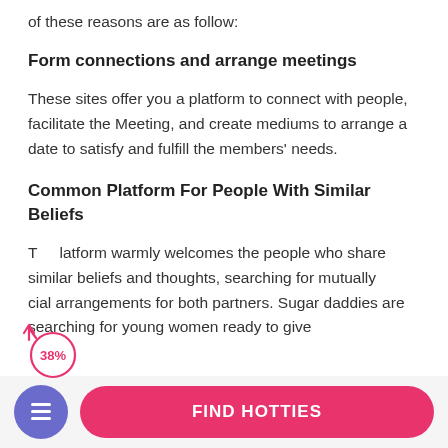of these reasons are as follow:
Form connections and arrange meetings
These sites offer you a platform to connect with people, facilitate the Meeting, and create mediums to arrange a date to satisfy and fulfill the members' needs.
Common Platform For People With Similar Beliefs
The platform warmly welcomes the people who share similar beliefs and thoughts, searching for mutually beneficial arrangements for both partners. Sugar daddies are searching for young women ready to give